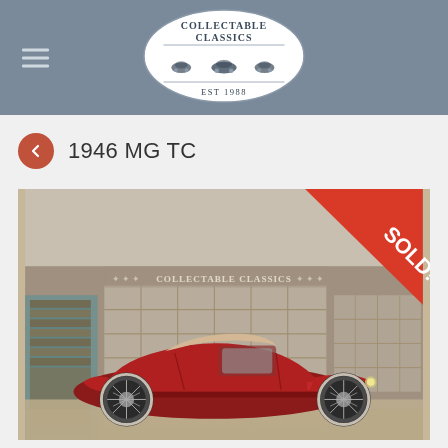[Figure (logo): Collectable Classics logo in oval shape with classic cars illustration. Text: COLLECTABLE CLASSICS EST 1988]
1946 MG TC
[Figure (photo): Red 1946 MG TC classic roadster parked in front of the Collectable Classics garage/showroom building. A red SOLD! banner is shown in the top right corner of the image.]